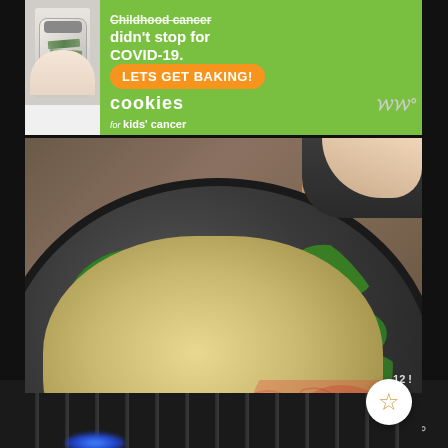[Figure (photo): Advertisement for 'Cookies for Kids Cancer' charity. Shows a person holding a glass jar of money against a green circular background. Text reads: 'Childhood cancer didn't stop for COVID-19. LETS GET BAKING! cookies for kids cancer']
[Figure (photo): Food photography showing a cast iron skillet on a gas stove with a creamy spinach and bacon dish being cooked. A hand holds the pan handle. A round white button with a star icon is overlaid in the bottom right.]
[Figure (photo): Bottom advertisement banner partially visible. Large text reads 'BE KIND' in red and orange letters with decorative script lettering overlay.]